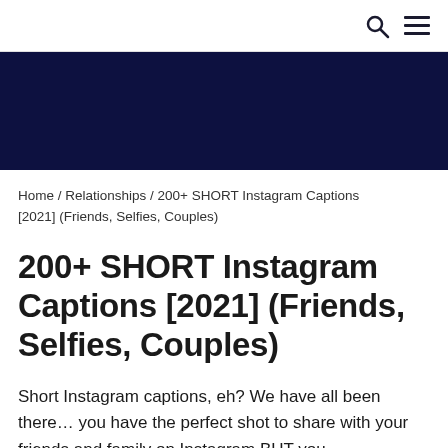🔍 ☰
[Figure (other): Dark navy blue banner/header image area]
Home / Relationships / 200+ SHORT Instagram Captions [2021] (Friends, Selfies, Couples)
200+ SHORT Instagram Captions [2021] (Friends, Selfies, Couples)
Short Instagram captions, eh? We have all been there… you have the perfect shot to share with your friends and family on Instagram BUT you